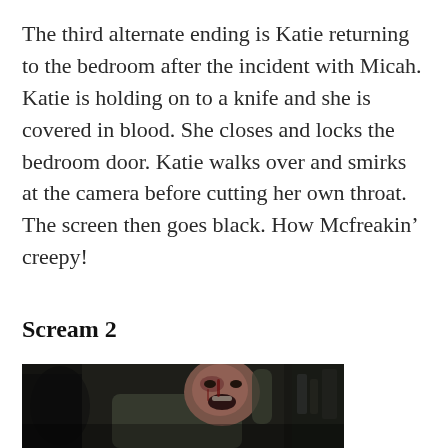The third alternate ending is Katie returning to the bedroom after the incident with Micah. Katie is holding on to a knife and she is covered in blood. She closes and locks the bedroom door. Katie walks over and smirks at the camera before cutting her own throat. The screen then goes black. How Mcfreakin’ creepy!
Scream 2
[Figure (photo): A dark movie still from Scream 2 showing a man with blood on his face, appearing to be yelling or in distress, with another figure partially visible on the left side of the frame.]